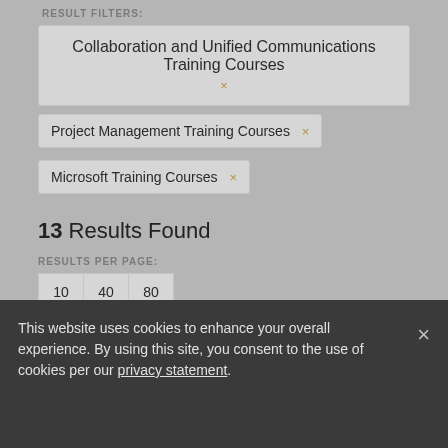RESULT FILTERS:
Collaboration and Unified Communications Training Courses ×
Project Management Training Courses ×
Microsoft Training Courses ×
13 Results Found
RESULTS PER PAGE:
10  40  80
SORT BY:
Order: A-Z
This website uses cookies to enhance your overall experience. By using this site, you consent to the use of cookies per our privacy statement.